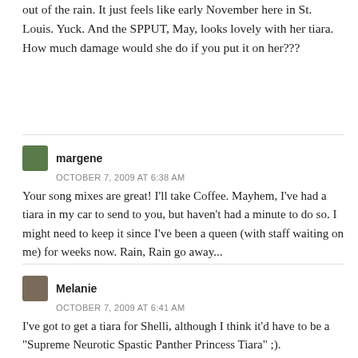out of the rain. It just feels like early November here in St. Louis. Yuck. And the SPPUT, May, looks lovely with her tiara. How much damage would she do if you put it on her???
margene
OCTOBER 7, 2009 AT 6:38 AM
Your song mixes are great! I'll take Coffee. Mayhem, I've had a tiara in my car to send to you, but haven't had a minute to do so. I might need to keep it since I've been a queen (with staff waiting on me) for weeks now. Rain, Rain go away...
Melanie
OCTOBER 7, 2009 AT 6:41 AM
I've got to get a tiara for Shelli, although I think it'd have to be a "Supreme Neurotic Spastic Panther Princess Tiara" ;).